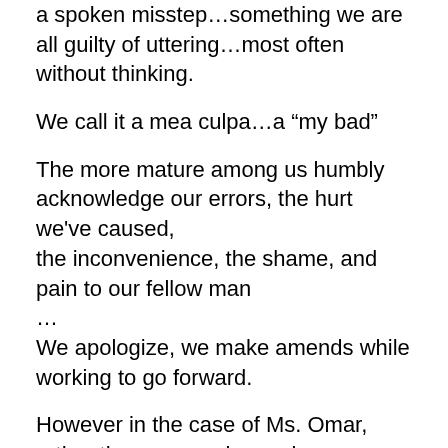a spoken misstep…something we are all guilty of uttering…most often without thinking.
We call it a mea culpa…a “my bad”
The more mature among us humbly acknowledge our errors, the hurt we've caused,
the inconvenience, the shame, and pain to our fellow man
…
We apologize, we make amends while working to go forward.
However in the case of Ms. Omar, rather than expressing umbrage or remorse,
Ms. Omar has doubled down on her rhetoric and continued with her caustic stance.
Her words and defiance are now sending her own upper